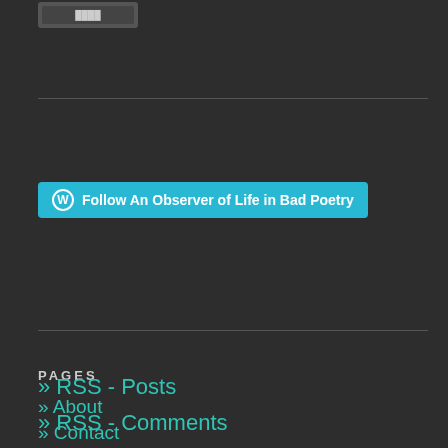[Figure (logo): Small logo image at top left (partially visible, dark background)]
[Figure (other): Follow An Observer of Life in Bad Poetry button with WordPress icon on cyan/teal background]
PAGES
» About
» Contact
» RSS - Posts
» RSS - Comments